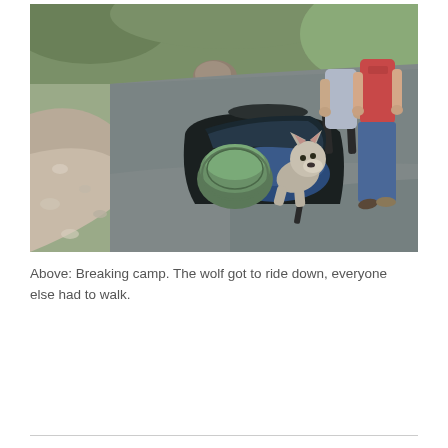[Figure (photo): Two children pushing a wheelbarrow loaded with camping gear: a rolled sleeping bag, a dark duffel bag, and a wolf stuffed animal toy. They are on a paved path with trees and gravel in the background.]
Above: Breaking camp. The wolf got to ride down, everyone else had to walk.